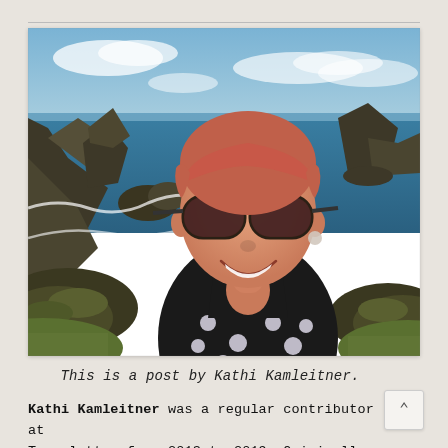[Figure (photo): A smiling woman with short reddish-pink hair and large dark sunglasses wearing a black polka-dot dress, taking a selfie outdoors against a dramatic coastal scenery with rocky sea stacks, crashing waves, and a blue sky.]
This is a post by Kathi Kamleitner.
Kathi Kamleitner was a regular contributor at Travelettes from 2013 to 2019. Originally from